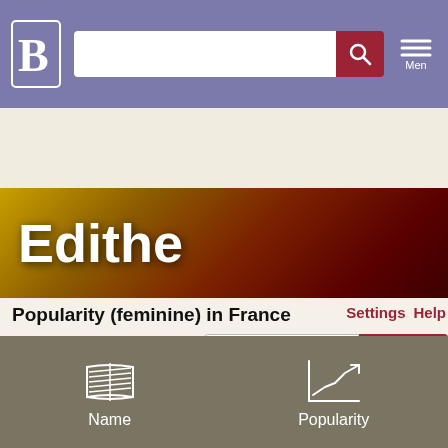Behindthename.com header with search bar and menu
Edithe
Popularity (feminine) in France
[Figure (continuous-plot): Line chart showing popularity of the name Edithe (feminine) in France over time, with y-axis showing percentages 0.030%, 0.040%, 0.050% and a red line with small peaks]
Name  Popularity